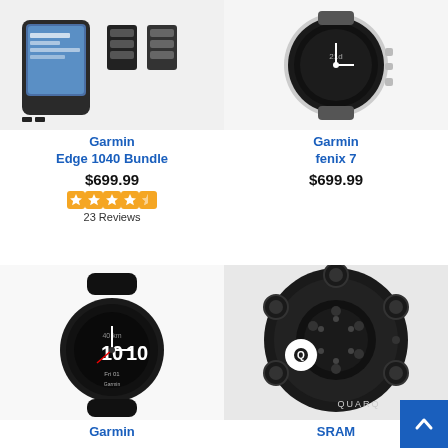[Figure (photo): Garmin Edge 1040 Bundle product photo showing bike computer and accessories]
Garmin
Edge 1040 Bundle
$699.99
[Figure (other): 4.5 star rating stars in orange]
23 Reviews
[Figure (photo): Garmin fenix 7 smartwatch product photo]
Garmin
fenix 7
$699.99
[Figure (photo): Garmin smartwatch (Forerunner) product photo showing black watch]
Garmin
[Figure (photo): SRAM QUARQ power meter spider product photo]
SRAM